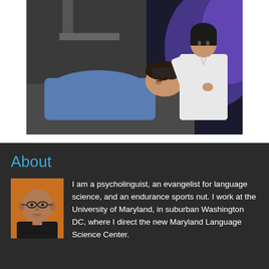[Figure (photo): A medical or research setting scene: a person lying on a table/bed wearing a blue shirt, while a researcher or technician in a white shirt attends to them, adjusting something near the person's head. Purple/blue ambient lighting in the background.]
About
[Figure (photo): Headshot of a bald man wearing glasses and a dark shirt, against an orange background.]
I am a psycholinguist, an evangelist for language science, and an endurance sports nut. I work at the University of Maryland, in suburban Washington DC, where I direct the new Maryland Language Science Center.